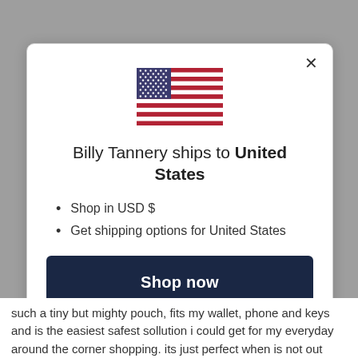[Figure (illustration): US flag SVG illustration centered in modal]
Billy Tannery ships to United States
Shop in USD $
Get shipping options for United States
Shop now
Change shipping country
such a tiny but mighty pouch, fits my wallet, phone and keys and is the easiest safest sollution i could get for my everyday around the corner shopping. its just perfect when is not out